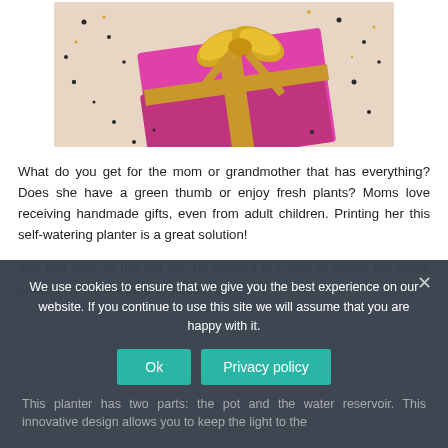[Figure (photo): A pink gift box with a gold ribbon bow, surrounded by scattered confetti dots, on a beige background.]
What do you get for the mom or grandmother that has everything? Does she have a green thumb or enjoy fresh plants? Moms love receiving handmade gifts, even from adult children. Printing her this self-watering planter is a great solution!
The two parts of the pot can be created in colors to match her home decor. And it's the perfect size for a
We use cookies to ensure that we give you the best experience on our website. If you continue to use this site we will assume that you are happy with it.